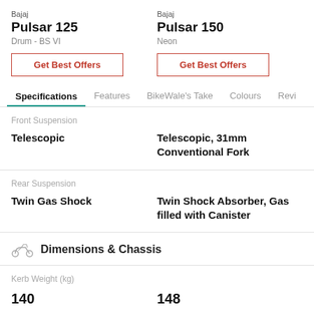Bajaj
Pulsar 125
Drum - BS VI
Bajaj
Pulsar 150
Neon
Get Best Offers
Get Best Offers
Specifications | Features | BikeWale's Take | Colours | Revi
Front Suspension
Telescopic
Telescopic, 31mm Conventional Fork
Rear Suspension
Twin Gas Shock
Twin Shock Absorber, Gas filled with Canister
Dimensions & Chassis
Kerb Weight (kg)
140
148